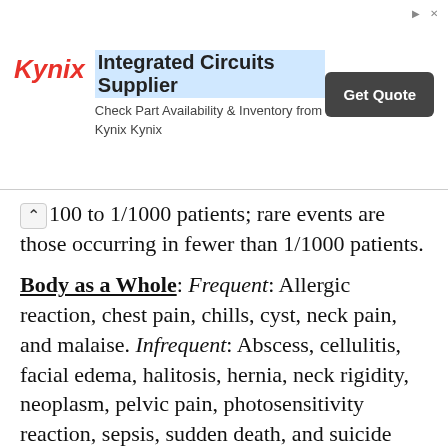[Figure (other): Kynix Integrated Circuits Supplier advertisement banner with logo, title, subtitle, and Get Quote button]
100 to 1/1000 patients; rare events are those occurring in fewer than 1/1000 patients.
Body as a Whole: Frequent: Allergic reaction, chest pain, chills, cyst, neck pain, and malaise. Infrequent: Abscess, cellulitis, facial edema, halitosis, hernia, neck rigidity, neoplasm, pelvic pain, photosensitivity reaction, sepsis, sudden death, and suicide attempt.
Cardiovascular System: Frequent: Hypertension, palpitation, syncope, and tachycardia. Infrequent: Angina pectoris, cerebral ischemia,